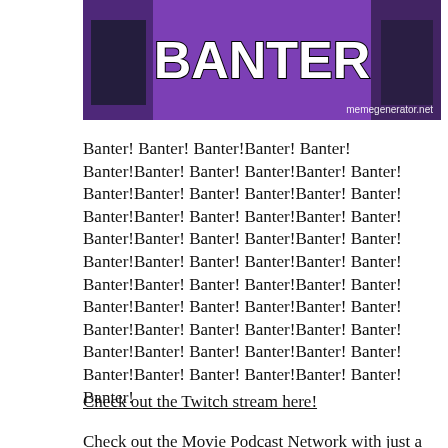[Figure (photo): Meme image with purple background and large bold white text reading BANTER, with memegenerator.net watermark]
Banter! Banter! Banter!Banter! Banter! Banter!Banter! Banter! Banter!Banter! Banter! Banter!Banter! Banter! Banter!Banter! Banter! Banter!Banter! Banter! Banter!Banter! Banter! Banter!Banter! Banter! Banter!Banter! Banter! Banter!Banter! Banter! Banter!Banter! Banter! Banter!Banter! Banter!
Check out the Twitch stream here!
Check out the Movie Podcast Network with just a